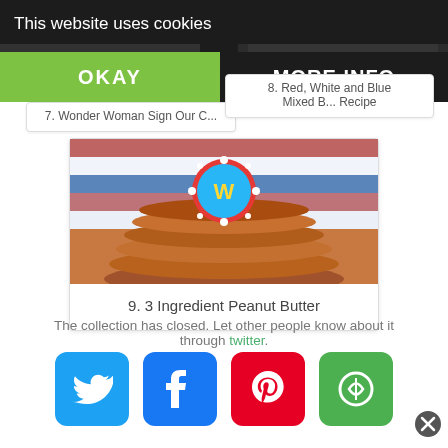This website uses cookies
OKAY
MORE INFO
7. Wonder Woman Sign Our C...
8. Red, White and Blue Mixed B... Recipe
[Figure (photo): Stack of pancakes topped with a Wonder Woman coin/badge on a patriotic background]
9. 3 Ingredient Peanut Butter
The collection has closed. Let other people know about it through twitter.
[Figure (other): Social share buttons: Twitter (blue), Facebook (blue), Pinterest (red), Share (green)]